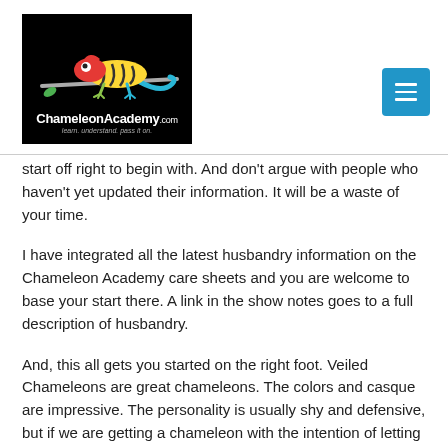[Figure (logo): ChameleonAcademy.com logo on black background with colorful chameleon on a branch. Text reads 'ChameleonAcademy.com' and 'learn. understand. pass it on.']
start off right to begin with. And don't argue with people who haven't yet updated their information. It will be a waste of your time.
I have integrated all the latest husbandry information on the Chameleon Academy care sheets and you are welcome to base your start there. A link in the show notes goes to a full description of husbandry.
And, this all gets you started on the right foot. Veiled Chameleons are great chameleons. The colors and casque are impressive. The personality is usually shy and defensive, but if we are getting a chameleon with the intention of letting him be a chameleon this shouldn't be an issue. If you need to hold your chameleon to be